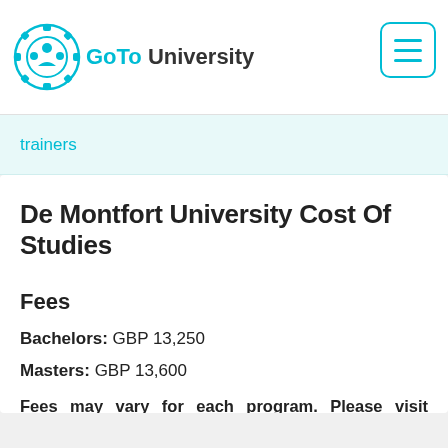[Figure (logo): GoTo University logo with teal gear/people icon and text]
trainers
De Montfort University Cost Of Studies
Fees
Bachelors: GBP 13,250
Masters: GBP 13,600
Fees may vary for each program. Please visit program page for specific fees.
Explore tuition fee & other cost